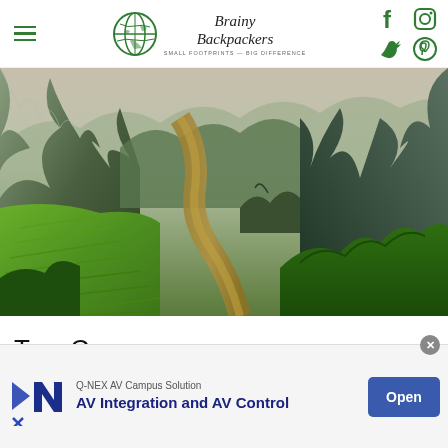Brainy Backpackers — Small Footprints — Big Difference
[Figure (photo): Aerial view of Tam Coc, Vietnam: lush green rice paddies and a winding river flanked by dramatic karst limestone mountains under a hazy sky.]
Tam Coc
[Figure (other): Advertisement banner: Q-NEX AV Campus Solution — AV Integration and AV Control — Open button]